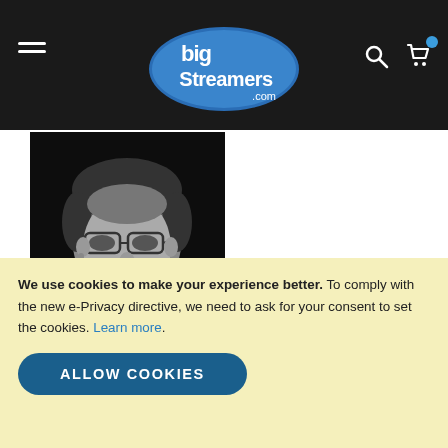bigStreamers.com navigation header
[Figure (photo): Black and white portrait photo of a man with glasses and a beard/mustache, looking slightly to the side]
"Just wanted to say how happy I am with the WordPress plugin sliders I have purchased from SliderVilla. Not only do they look great, but when I had some issues at my end in configuring them, the support you gave was prompt and comprehensive"
- Jack Andrson -
We use cookies to make your experience better. To comply with the new e-Privacy directive, we need to ask for your consent to set the cookies. Learn more.
ALLOW COOKIES